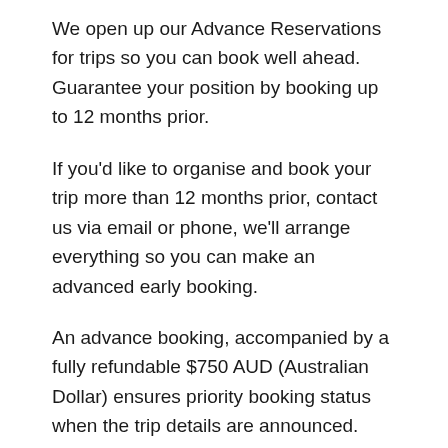We open up our Advance Reservations for trips so you can book well ahead. Guarantee your position by booking up to 12 months prior.
If you'd like to organise and book your trip more than 12 months prior, contact us via email or phone, we'll arrange everything so you can make an advanced early booking.
An advance booking, accompanied by a fully refundable $750 AUD (Australian Dollar) ensures priority booking status when the trip details are announced. Note, an advance booking is not considered final until payment is received.
Once specific trip itinerary details are finalized, we'll contact everyone on the advance reservation list via email, we'll include the itinerary and offer a priority booking position before opening up bookings to the